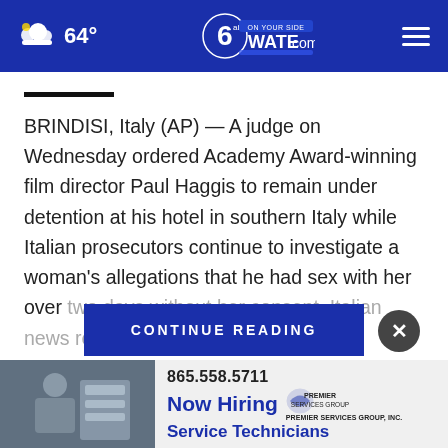64° WATE.com
BRINDISI, Italy (AP) — A judge on Wednesday ordered Academy Award-winning film director Paul Haggis to remain under detention at his hotel in southern Italy while Italian prosecutors continue to investigate a woman's allegations that he had sex with her over two days without her consent, Italian news reports said.
CONTINUE READING
[Figure (screenshot): Advertisement banner with photo of service technician, phone number 865.558.5711, 'Now Hiring Service Technicians' text and Premier Services Group Inc. logo]